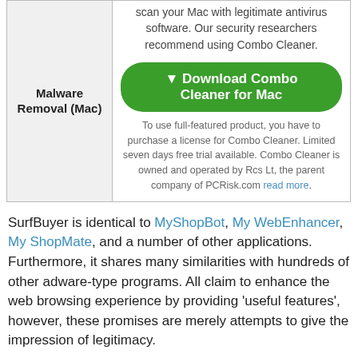| Malware Removal (Mac) |  |
| --- | --- |
| Malware Removal (Mac) | scan your Mac with legitimate antivirus software. Our security researchers recommend using Combo Cleaner. [Download Combo Cleaner for Mac] To use full-featured product, you have to purchase a license for Combo Cleaner. Limited seven days free trial available. Combo Cleaner is owned and operated by Rcs Lt, the parent company of PCRisk.com read more. |
SurfBuyer is identical to MyShopBot, My WebEnhancer, My ShopMate, and a number of other applications. Furthermore, it shares many similarities with hundreds of other adware-type programs. All claim to enhance the web browsing experience by providing 'useful features', however, these promises are merely attempts to give the impression of legitimacy.
Adware-type applications are designed only to generate revenue for the developers and regular users receive no value. These applications deliver intrusive online